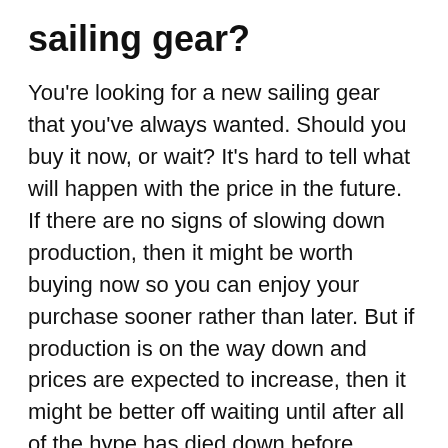sailing gear?
You're looking for a new sailing gear that you've always wanted. Should you buy it now, or wait? It's hard to tell what will happen with the price in the future. If there are no signs of slowing down production, then it might be worth buying now so you can enjoy your purchase sooner rather than later. But if production is on the way down and prices are expected to increase, then it might be better off waiting until after all of the hype has died down before making your decision.
4. Which type of sailing gear is best?